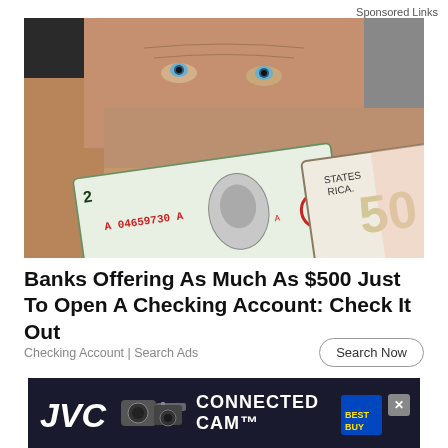Sponsored Links
[Figure (photo): A man holding up US dollar bills including a $2 bill and a $50 bill in front of his face, showing the serial numbers A04659730A and B63606930A.]
Banks Offering As Much As $500 Just To Open A Checking Account: Check It Out
Checking Account | Search Ads
[Figure (photo): JVC Connected Cam advertisement banner showing camera equipment against a dark background with the text CONNECTED CAM.]